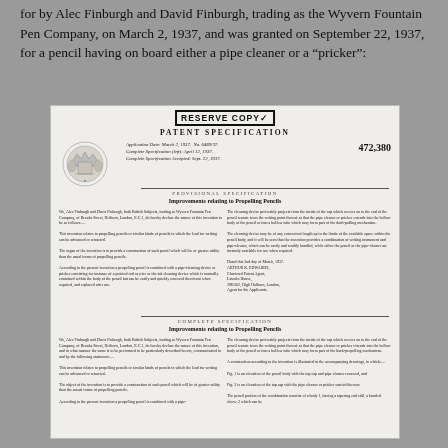for by Alec Finburgh and David Finburgh, trading as the Wyvern Fountain Pen Company, on March 2, 1937, and was granted on September 22, 1937, for a pencil having on board either a pipe cleaner or a "pricker":
[Figure (other): Scanned image of a British Patent Specification No. 472,380, stamped RESERVE COPY. Application Date March 2, 1937. Shows Provisional Specification section titled 'Improvements relating to Propelling Pencils' and Complete Specification section with same title. Two-column text describing the patent invention, including references to pipe cleaner or pricker mechanism. Includes royal crest image at top left.]